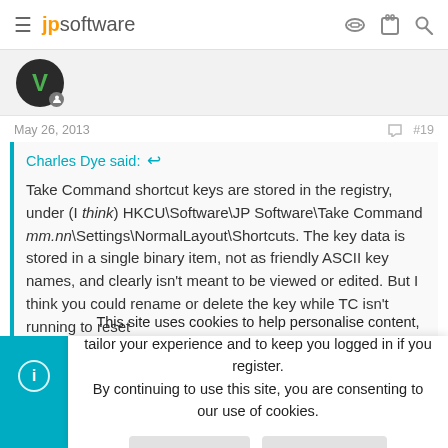jpsoftware
[Figure (illustration): User avatar circle with letter V and a user badge icon]
May 26, 2013   #19
Charles Dye said: ↩

Take Command shortcut keys are stored in the registry, under (I think) HKCU\Software\JP Software\Take Command mm.nn\Settings\NormalLayout\Shortcuts. The key data is stored in a single binary item, not as friendly ASCII key names, and clearly isn't meant to be viewed or edited. But I think you could rename or delete the key while TC isn't running to reset
This site uses cookies to help personalise content, tailor your experience and to keep you logged in if you register.
By continuing to use this site, you are consenting to our use of cookies.